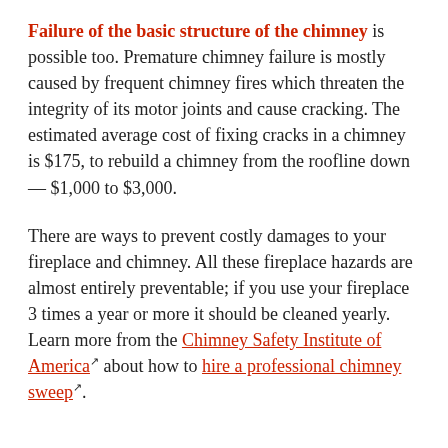Failure of the basic structure of the chimney is possible too. Premature chimney failure is mostly caused by frequent chimney fires which threaten the integrity of its motor joints and cause cracking. The estimated average cost of fixing cracks in a chimney is $175, to rebuild a chimney from the roofline down—$1,000 to $3,000.
There are ways to prevent costly damages to your fireplace and chimney. All these fireplace hazards are almost entirely preventable; if you use your fireplace 3 times a year or more it should be cleaned yearly. Learn more from the Chimney Safety Institute of America about how to hire a professional chimney sweep.